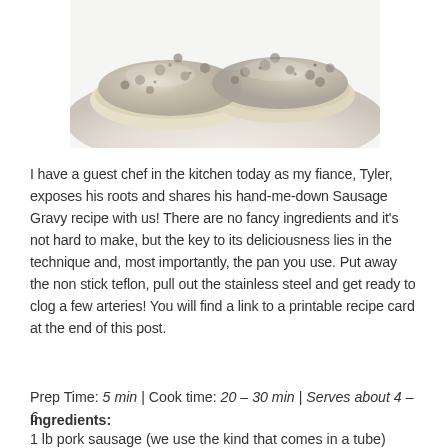[Figure (photo): Close-up photo of biscuits and sausage gravy on a white plate]
I have a guest chef in the kitchen today as my fiance, Tyler, exposes his roots and shares his hand-me-down Sausage Gravy recipe with us! There are no fancy ingredients and it's not hard to make, but the key to its deliciousness lies in the technique and, most importantly, the pan you use. Put away the non stick teflon, pull out the stainless steel and get ready to clog a few arteries! You will find a link to a printable recipe card at the end of this post.
Prep Time: 5 min | Cook time: 20 – 30 min | Serves about 4 – 6
Ingredients:
1 lb pork sausage (we use the kind that comes in a tube)